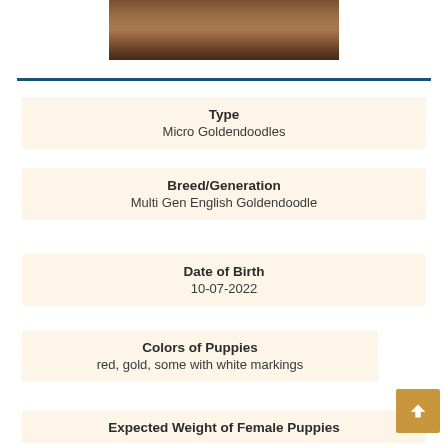[Figure (photo): Photograph of puppies on a wooden surface]
| Type | Micro Goldendoodles |
| Breed/Generation | Multi Gen English Goldendoodle |
| Date of Birth | 10-07-2022 |
| Colors of Puppies | red, gold, some with white markings |
| Expected Weight of Female Puppies |  |